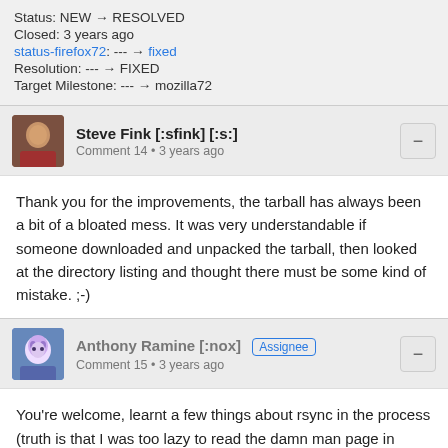Status: NEW → RESOLVED
Closed: 3 years ago
status-firefox72: --- → fixed
Resolution: --- → FIXED
Target Milestone: --- → mozilla72
Steve Fink [:sfink] [:s:]
Comment 14 • 3 years ago
Thank you for the improvements, the tarball has always been a bit of a bloated mess. It was very understandable if someone downloaded and unpacked the tarball, then looked at the directory listing and thought there must be some kind of mistake. ;-)
Anthony Ramine [:nox] Assignee
Comment 15 • 3 years ago
You're welcome, learnt a few things about rsync in the process (truth is that I was too lazy to read the damn man page in depth). I have a few more trimming ideas but I need to clean up the patches first. I'll properly request reviews next batch of